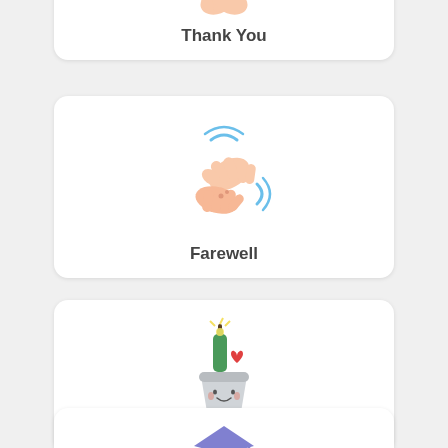[Figure (illustration): Two hands pressed together in a thank-you gesture with a pink heart, pastel illustration]
Thank You
[Figure (illustration): Two hands clapping/waving with blue motion lines, pastel illustration]
Farewell
[Figure (illustration): A cute bucket with a champagne bottle, red heart, and kawaii face, pastel illustration]
Anniversary
[Figure (illustration): A graduation cap, purple/blue, partial view at bottom of page]